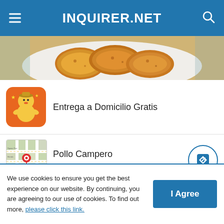INQUIRER.NET
[Figure (photo): Fried chicken pieces on a plate, close-up food photo]
[Figure (infographic): Orange advertisement banner for Pollo Campero with mascot logo - Entrega a Domicilio Gratis]
[Figure (infographic): Pollo Campero location ad showing map with pin, restaurant name, location Herndon, hours 10AM-10PM, and navigation icon]
Advertisement
Comments
We use cookies to ensure you get the best experience on our website. By continuing, you are agreeing to our use of cookies. To find out more, please click this link.